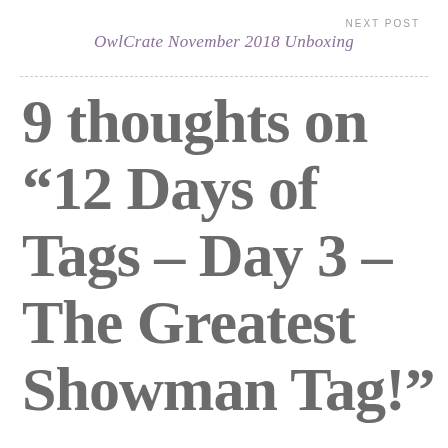NEXT POST
OwlCrate November 2018 Unboxing
9 thoughts on “12 Days of Tags – Day 3 – The Greatest Showman Tag!”